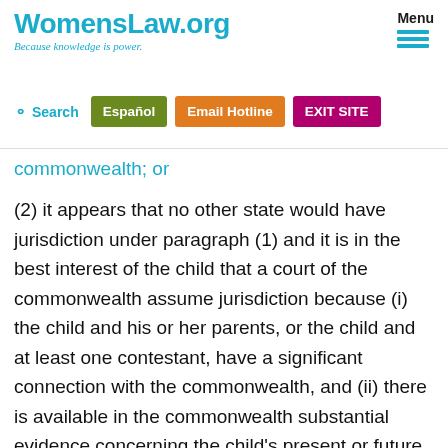WomensLaw.org — Because knowledge is power. | Menu | Search | Español | Email Hotline | EXIT SITE
commonwealth; or
(2) it appears that no other state would have jurisdiction under paragraph (1) and it is in the best interest of the child that a court of the commonwealth assume jurisdiction because (i) the child and his or her parents, or the child and at least one contestant, have a significant connection with the commonwealth, and (ii) there is available in the commonwealth substantial evidence concerning the child's present or future care, protection, training, and personal relationships; or